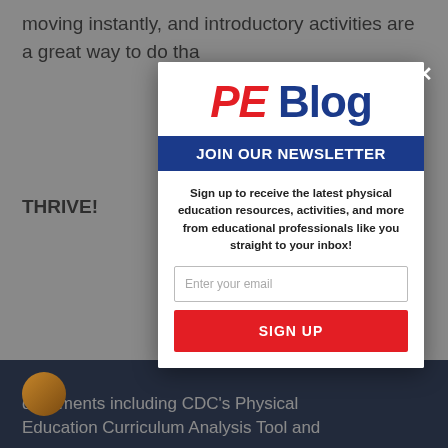moving instantly, and introductory activities are a great way to do tha
THRIVE!
[Figure (screenshot): Newsletter signup modal popup for PE Blog. Contains PE Blog logo in red italic and blue, a blue banner reading JOIN OUR NEWSLETTER, descriptive text about signing up, an email input field, and a red SIGN UP button.]
documents including CDC's Physical Education Curriculum Analysis Tool and